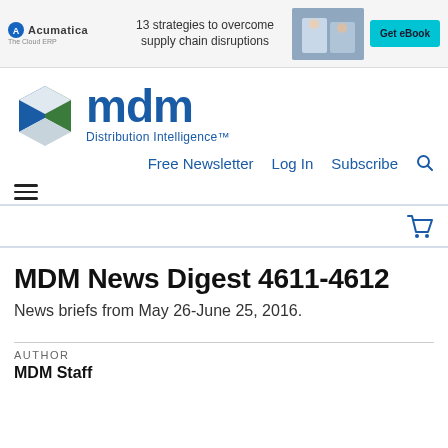[Figure (screenshot): Acumatica advertisement banner: logo on left, text '13 strategies to overcome supply chain disruptions' in center, photo of workers and 'Get eBook' cyan button on right]
[Figure (logo): MDM Distribution Intelligence logo: geometric cube icon in blue/green/white, with large blue 'mdm' text and 'Distribution Intelligence™' tagline]
Free Newsletter  Log In  Subscribe
MDM News Digest 4611-4612
News briefs from May 26-June 25, 2016.
AUTHOR
MDM Staff